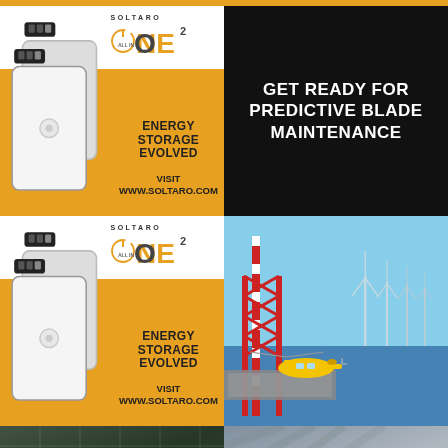[Figure (illustration): Soltaro ONE² energy storage unit advertisement with orange background. Logo shows 'SOLTARO' brand with 'ONE²' in large orange letters and 'ALL IN' circle icon. Text reads 'ENERGY STORAGE EVOLVED' and 'VISIT WWW.SOLTARO.COM'. White wall-mounted battery units shown on left.]
[Figure (illustration): Black background advertisement with bold white text: 'GET READY FOR PREDICTIVE BLADE MAINTENANCE']
[Figure (illustration): Soltaro ONE² energy storage unit advertisement (second instance) — identical to first: orange background, SOLTARO ONE² logo, 'ENERGY STORAGE EVOLVED', 'VISIT WWW.SOLTARO.COM']
[Figure (photo): Offshore wind energy photo: yellow helicopter on a helipad on a red/white offshore platform structure. Wind turbines visible in the blue sea background.]
[Figure (photo): Partial bottom-left photo, appears to show solar panels or industrial equipment.]
[Figure (illustration): WindEnergy Hamburg advertisement or listing, partially visible. Shows text 'WindEnergy Hamburg' and partial subtitle line.]